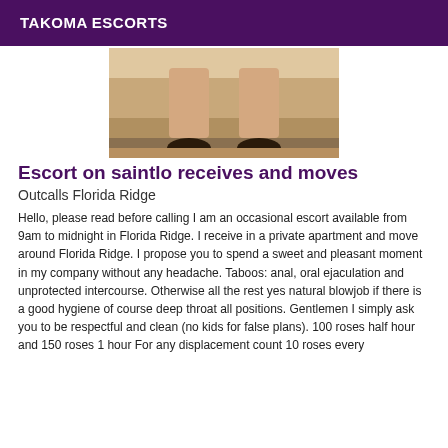TAKOMA ESCORTS
[Figure (photo): Photo showing legs of a person standing on a wooden floor wearing dark heeled shoes, cropped at mid-thigh]
Escort on saintlo receives and moves
Outcalls Florida Ridge
Hello, please read before calling I am an occasional escort available from 9am to midnight in Florida Ridge. I receive in a private apartment and move around Florida Ridge. I propose you to spend a sweet and pleasant moment in my company without any headache. Taboos: anal, oral ejaculation and unprotected intercourse. Otherwise all the rest yes natural blowjob if there is a good hygiene of course deep throat all positions. Gentlemen I simply ask you to be respectful and clean (no kids for false plans). 100 roses half hour and 150 roses 1 hour For any displacement count 10 roses every